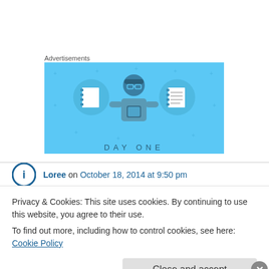Advertisements
[Figure (illustration): Day One app advertisement banner with light blue background showing a cartoon figure holding a phone, flanked by two circular icons with notebook illustrations, and the text 'DAY ONE' at the bottom]
Loree on October 18, 2014 at 9:50 pm
Privacy & Cookies: This site uses cookies. By continuing to use this website, you agree to their use.
To find out more, including how to control cookies, see here: Cookie Policy
Close and accept